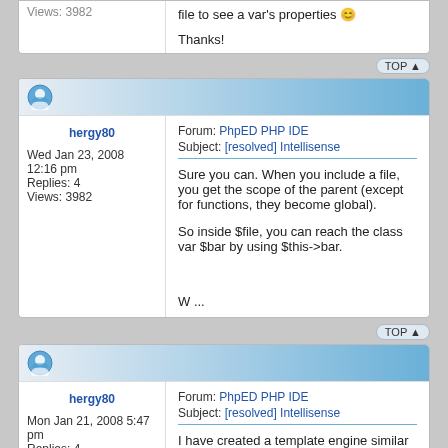Views: 3982
file to see a var's properties 😊

Thanks!
TOP ▲
hergy80
Wed Jan 23, 2008 12:16 pm
Replies: 4
Views: 3982
Forum: PhpED PHP IDE
Subject: [resolved] Intellisense
Sure you can. When you include a file, you get the scope of the parent (except for functions, they become global).

So inside $file, you can reach the class var $bar by using $this->bar.


W ...
TOP ▲
hergy80
Mon Jan 21, 2008 5:47 pm
Replies: 4
Views: 3982
Forum: PhpED PHP IDE
Subject: [resolved] Intellisense
I have created a template engine similar to the Zend Framework MVC (mostly the views), where I have a class similar to: